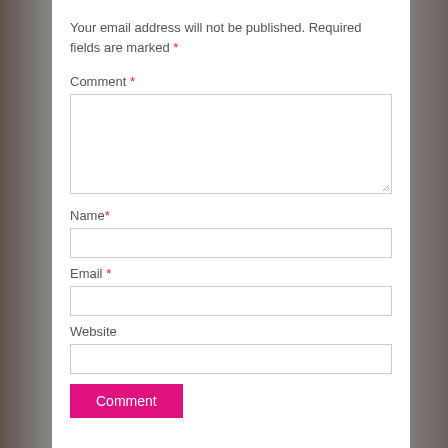Your email address will not be published. Required fields are marked *
Comment *
Name*
Email *
Website
Comment